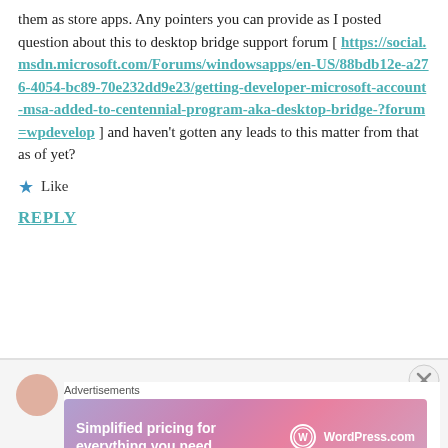them as store apps. Any pointers you can provide as I posted question about this to desktop bridge support forum [ https://social.msdn.microsoft.com/Forums/windowsapps/en-US/88bdb12e-a276-4054-bc89-70e232dd9e23/getting-developer-microsoft-account-msa-added-to-centennial-program-aka-desktop-bridge-?forum=wpdevelop ] and haven't gotten any leads to this matter from that as of yet?
★ Like
REPLY
[Figure (other): Advertisements banner: Simplified pricing for everything you need. WordPress.com]